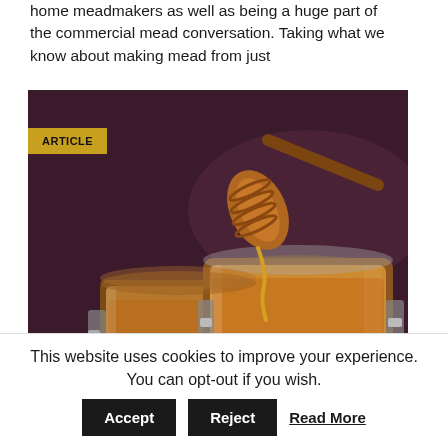home meadmakers as well as being a huge part of the commercial mead conversation. Taking what we know about making mead from just
[Figure (photo): Photo of two glass jars of honey with a honey dipper resting on top, on a dark background. A yellow badge in the upper left reads 'ARTICLE'. Below the photo is an orange horizontal line and a grey bar reading 'Digital and Plus Members Only'.]
This website uses cookies to improve your experience. You can opt-out if you wish. Accept Reject Read More